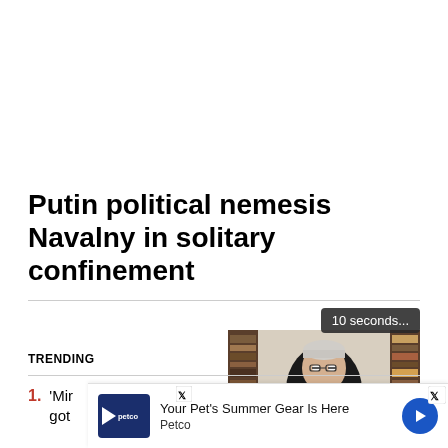Putin political nemesis Navalny in solitary confinement
[Figure (screenshot): Video player showing a man in a dark suit with white shirt speaking, bookshelf visible in background. Video controls bar at bottom with pause, rewind, settings, and fullscreen icons. 'Just the News' logo in bottom right. Tooltip showing '10 seconds...' above the player.]
TRENDING
[Figure (screenshot): Advertisement banner: Petco logo on left, text 'Your Pet's Summer Gear Is Here / Petco', X (Twitter) badge in top right corner, blue circular navigation arrow icon on right side.]
'Mir... recently got